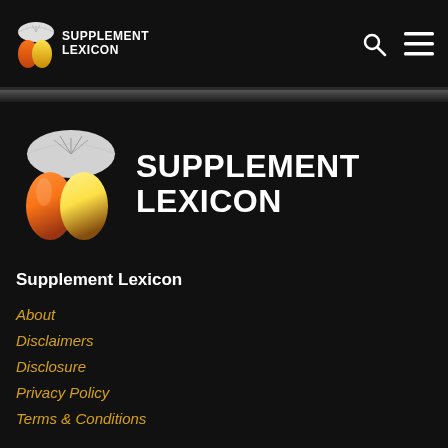SUPPLEMENT LEXICON
[Figure (logo): Supplement Lexicon large logo with open book and capsule icon in orange/yellow gradient, with white bold text SUPPLEMENT LEXICON]
Supplement Lexicon
About
Disclaimers
Disclosure
Privacy Policy
Terms & Conditions